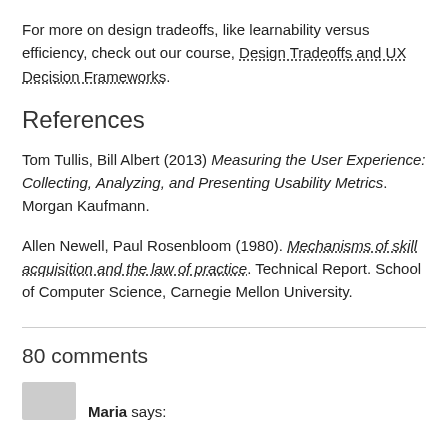For more on design tradeoffs, like learnability versus efficiency, check out our course, Design Tradeoffs and UX Decision Frameworks.
References
Tom Tullis, Bill Albert (2013) Measuring the User Experience: Collecting, Analyzing, and Presenting Usability Metrics. Morgan Kaufmann.
Allen Newell, Paul Rosenbloom (1980). Mechanisms of skill acquisition and the law of practice. Technical Report. School of Computer Science, Carnegie Mellon University.
80 comments
Maria says: